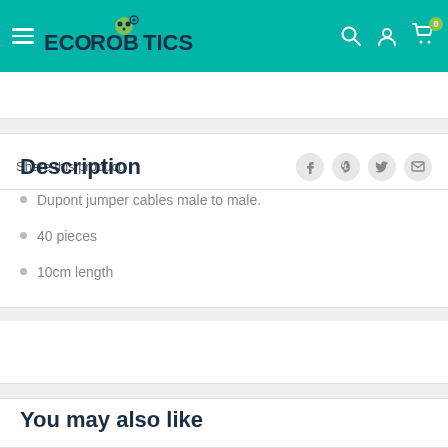EcoRobotics navigation header
Share this product
Description
Dupont jumper cables male to male.
40 pieces
10cm length
You may also like